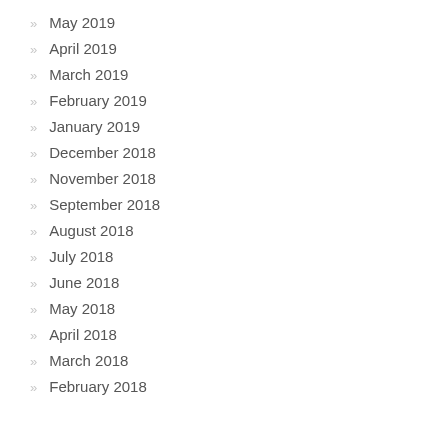May 2019
April 2019
March 2019
February 2019
January 2019
December 2018
November 2018
September 2018
August 2018
July 2018
June 2018
May 2018
April 2018
March 2018
February 2018